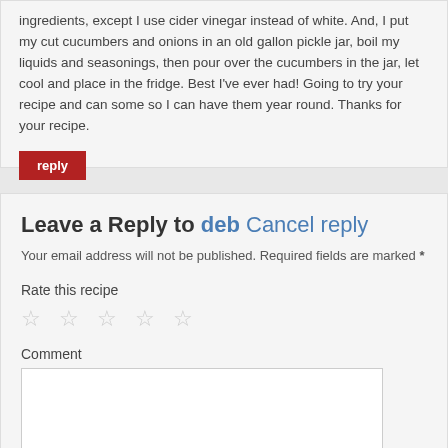ingredients, except I use cider vinegar instead of white. And, I put my cut cucumbers and onions in an old gallon pickle jar, boil my liquids and seasonings, then pour over the cucumbers in the jar, let cool and place in the fridge. Best I've ever had! Going to try your recipe and can some so I can have them year round. Thanks for your recipe.
reply
Leave a Reply to deb Cancel reply
Your email address will not be published. Required fields are marked *
Rate this recipe
☆ ☆ ☆ ☆ ☆
Comment